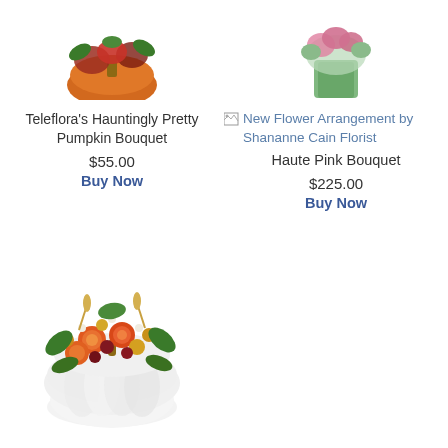[Figure (photo): Partial top view of a floral arrangement in a pumpkin vase (cropped at top)]
[Figure (photo): Partial top view of a floral arrangement in a green vase (cropped at top)]
Teleflora's Hauntingly Pretty Pumpkin Bouquet
$55.00
Buy Now
[Figure (photo): Broken image icon linking to New Flower Arrangement by Shananne Cain Florist]
New Flower Arrangement by Shananne Cain Florist
Haute Pink Bouquet
$225.00
Buy Now
[Figure (photo): Floral arrangement with orange roses and autumn flowers in a white pumpkin vase]